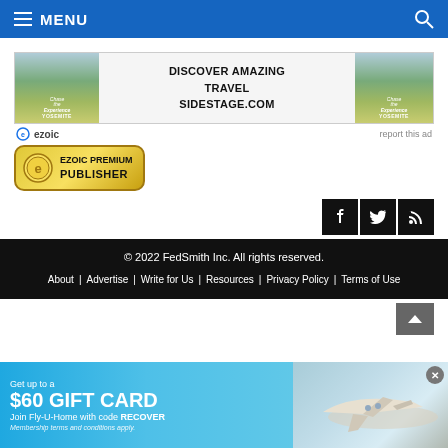MENU
[Figure (photo): Advertisement banner for sidestage.com showing Yosemite travel images with text 'DISCOVER AMAZING TRAVEL SIDESTAGE.COM' and ezoic logo]
[Figure (logo): Ezoic Premium Publisher badge/logo in gold and green]
[Figure (infographic): Social media icons: Facebook, Twitter, RSS feed in black square buttons]
© 2022 FedSmith Inc. All rights reserved. About | Advertise | Write for Us | Resources | Privacy Policy | Terms of Use
[Figure (photo): Bottom advertisement: Get up to a $60 GIFT CARD. Join Fly-U-Home with code RECOVER. Membership terms and conditions apply. Shows airplane image.]